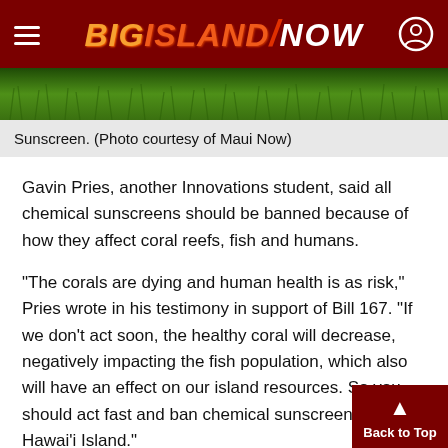Big Island NOW
[Figure (photo): Green grass field, photo strip]
Sunscreen. (Photo courtesy of Maui Now)
Gavin Pries, another Innovations student, said all chemical sunscreens should be banned because of how they affect coral reefs, fish and humans.
“The corals are dying and human health is as risk,” Pries wrote in his testimony in support of Bill 167. “If we don't act soon, the healthy coral will decrease, negatively impacting the fish population, which also will have an effect on our island resources. So you should act fast and ban chemical sunscreen on Hawaiʻi Island.”